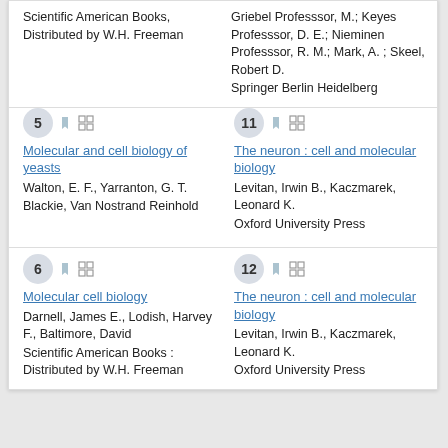Scientific American Books, Distributed by W.H. Freeman
Griebel Professsor, M.; Keyes Professsor, D. E.; Nieminen Professsor, R. M.; Mark, A. ; Skeel, Robert D.
Springer Berlin Heidelberg
5 - Molecular and cell biology of yeasts
Walton, E. F., Yarranton, G. T.
Blackie, Van Nostrand Reinhold
11 - The neuron : cell and molecular biology
Levitan, Irwin B., Kaczmarek, Leonard K.
Oxford University Press
6 - Molecular cell biology
Darnell, James E., Lodish, Harvey F., Baltimore, David
Scientific American Books : Distributed by W.H. Freeman
12 - The neuron : cell and molecular biology
Levitan, Irwin B., Kaczmarek, Leonard K.
Oxford University Press